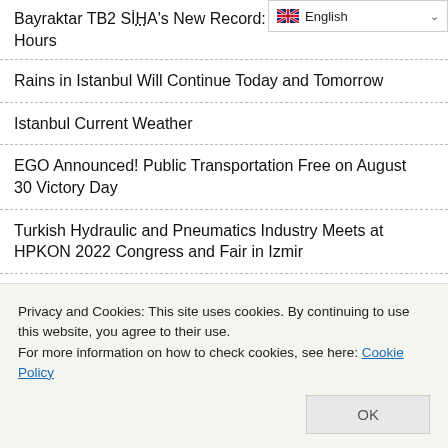Bayraktar TB2 SİHA's New Record: 500 Thousand Flight Hours
Rains in Istanbul Will Continue Today and Tomorrow
Istanbul Current Weather
EGO Announced! Public Transportation Free on August 30 Victory Day
Turkish Hydraulic and Pneumatics Industry Meets at HPKON 2022 Congress and Fair in Izmir
Istanbul Metropolitan Municipality to Recruit Personnel for Student Dormitories
Istanbul Metropolitan Municipality Will Recruit Preschool
Privacy and Cookies: This site uses cookies. By continuing to use this website, you agree to their use.
For more information on how to check cookies, see here: Cookie Policy
Kaman Savcılı Kırşehir Road to Be Opened on the 100th